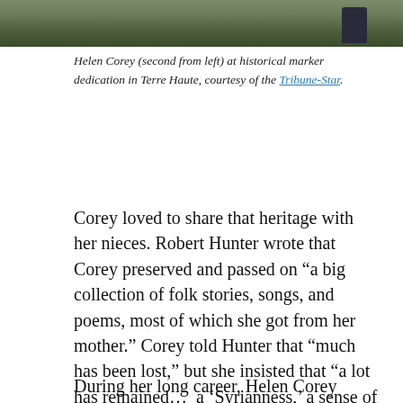[Figure (photo): Top portion of a photo showing grass and a person's feet/legs, cropped at top of page]
Helen Corey (second from left) at historical marker dedication in Terre Haute, courtesy of the Tribune-Star.
Corey loved to share that heritage with her nieces. Robert Hunter wrote that Corey preserved and passed on “a big collection of folk stories, songs, and poems, most of which she got from her mother.” Corey told Hunter that “much has been lost,” but she insisted that “a lot has remained…  a ‘Syrianness,’ a sense of who you are and wanting to hold onto it even though you do not have much actual knowledge.”
During her long career, Helen Corey gained